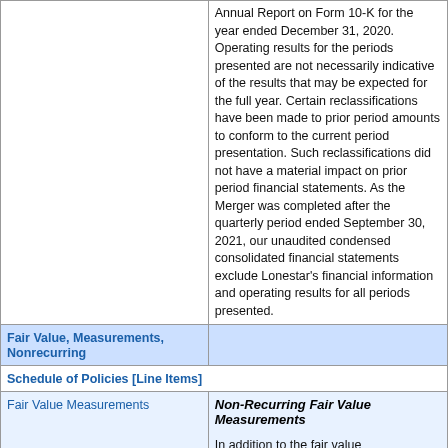|  |  |
| --- | --- |
|  | Annual Report on Form 10-K for the year ended December 31, 2020. Operating results for the periods presented are not necessarily indicative of the results that may be expected for the full year. Certain reclassifications have been made to prior period amounts to conform to the current period presentation. Such reclassifications did not have a material impact on prior period financial statements. As the Merger was completed after the quarterly period ended September 30, 2021, our unaudited condensed consolidated financial statements exclude Lonestar's financial information and operating results for all periods presented. |
| Fair Value, Measurements, Nonrecurring |  |
| Schedule of Policies [Line Items] |  |
| Fair Value Measurements | Non-Recurring Fair Value Measurements

In addition to the fair value measurements applied with respect to... |